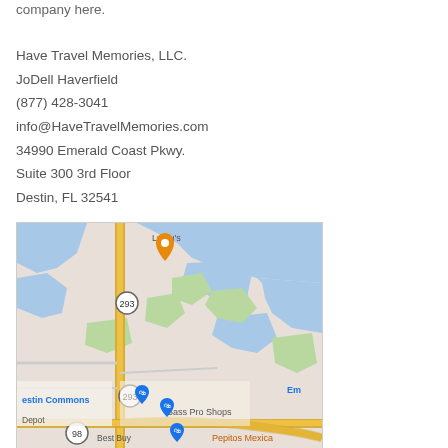company here.
Have Travel Memories, LLC.
JoDell Haverfield
(877) 428-3041
info@HaveTravelMemories.com
34990 Emerald Coast Pkwy.
Suite 300 3rd Floor
Destin, FL 32541
[Figure (map): Google Maps view showing area around 34990 Emerald Coast Pkwy in Destin, FL. Shows road 293, road 98, Destin Commons shopping area, Bass Pro Shops, Best Buy, Pepitos Mexican restaurant, and a location pin marker near Lu Lu's. Water bodies and green areas visible.]